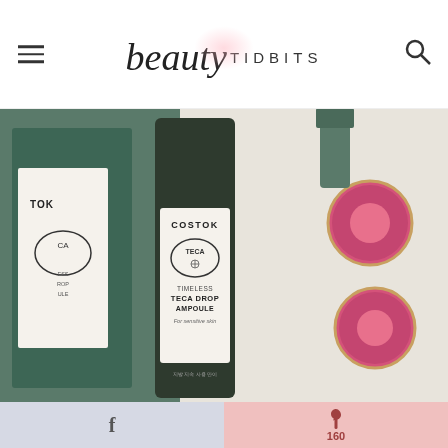beauty TIDBITS
[Figure (photo): Close-up photo of COSTOK Timeless Teca Drop Ampoule bottle for sensitive skin, dark green glass bottle with white oval label, alongside pink cosmetic compacts on white background]
[Figure (photo): Partial close-up of a gold-capped perfume or serum bottle on light background]
f
160